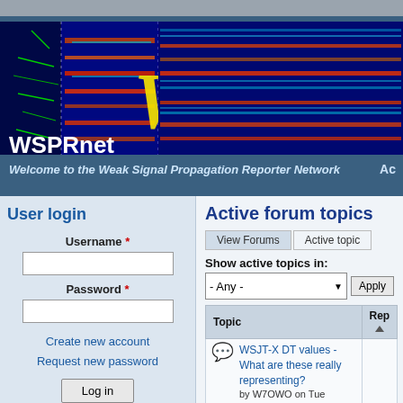[Figure (screenshot): WSPRnet website banner with spectrum waterfall image and WSPR logo text in yellow italic on blue background]
WSPRnet
Welcome to the Weak Signal Propagation Reporter Network
User login
Username *
Password *
Create new account
Request new password
Log in
Active forum topics
View Forums
Active topics
Show active topics in:
- Any -
Apply
| Topic | Rep |
| --- | --- |
| WSJT-X DT values - What are these really representing? |  |
| by W7OWO on Tue |  |
Ac